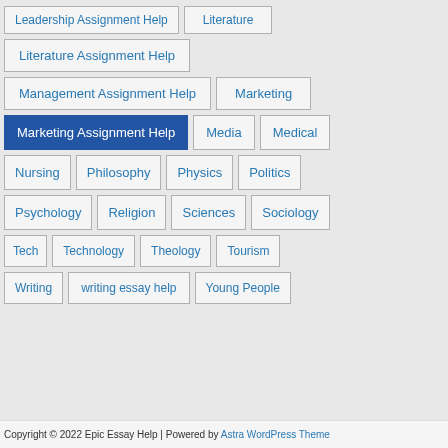Leadership Assignment Help
Literature
Literature Assignment Help
Management Assignment Help
Marketing
Marketing Assignment Help
Media
Medical
Nursing
Philosophy
Physics
Politics
Psychology
Religion
Sciences
Sociology
Tech
Technology
Theology
Tourism
Writing
writing essay help
Young People
Copyright © 2022 Epic Essay Help | Powered by Astra WordPress Theme